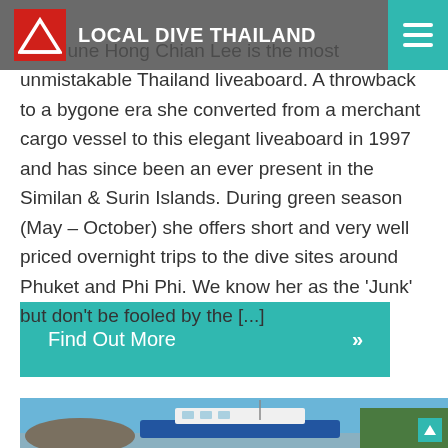LOCAL DIVE THAILAND
The June Hong Chian Lee is the most unmistakable Thailand liveaboard. A throwback to a bygone era she converted from a merchant cargo vessel to this elegant liveaboard in 1997 and has since been an ever present in the Similan & Surin Islands. During green season (May – October) she offers short and very well priced overnight trips to the dive sites around Phuket and Phi Phi. We know her as the 'Junk' but don't be fooled by the [...]
[Figure (other): Teal 'Find Out More' call-to-action button with double chevron arrow]
[Figure (photo): Photo of a white liveaboard dive boat docked near rocky cliffs and trees under a blue sky]